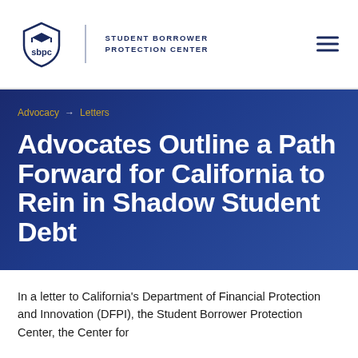Student Borrower Protection Center
Advocacy → Letters
Advocates Outline a Path Forward for California to Rein in Shadow Student Debt
In a letter to California's Department of Financial Protection and Innovation (DFPI), the Student Borrower Protection Center, the Center for